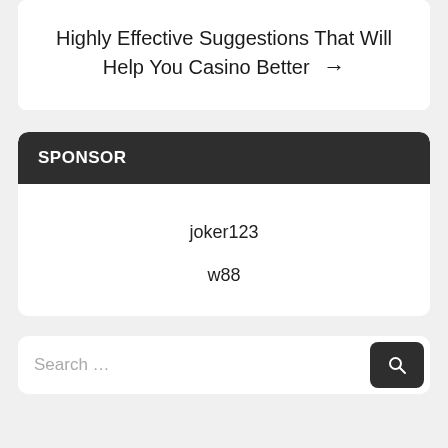Highly Effective Suggestions That Will Help You Casino Better →
SPONSOR
joker123
w88
Search …